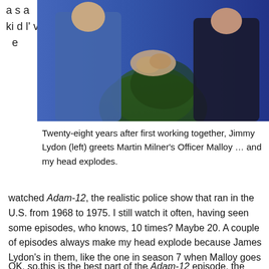[Figure (photo): Two people shaking hands, one in a blue outfit, one in a dark police-style uniform, in front of green foliage background]
Twenty-eight years after first working together, Jimmy Lydon (left) greets Martin Milner's Officer Malloy … and my head explodes.
a s a k i d l' v e watched Adam-12, the realistic police show that ran in the U.S. from 1968 to 1975. I still watch it often, having seen some episodes, who knows, 10 times? Maybe 20. A couple of episodes always make my head explode because James Lydon's in them, like the one in season 7 when Malloy goes to a halfway house to secure a place for an aging ex-con.
OK, so this is the best part of the Adam-12 episode, the